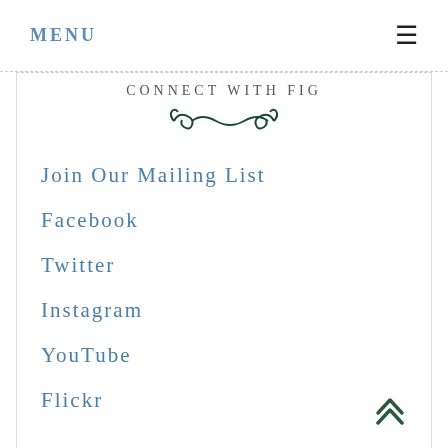MENU
CONNECT WITH FIG
[Figure (illustration): Decorative scroll/flourish ornament divider in dark green]
Join Our Mailing List
Facebook
Twitter
Instagram
YouTube
Flickr